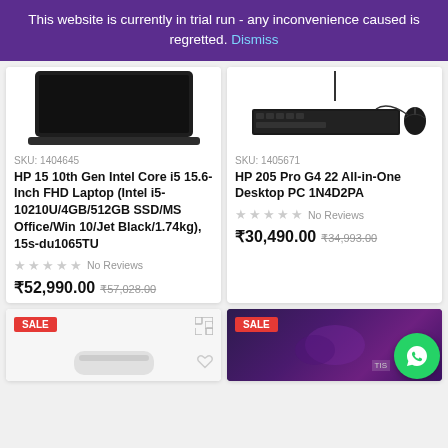This website is currently in trial run - any inconvenience caused is regretted. Dismiss
SKU: 1404645
HP 15 10th Gen Intel Core i5 15.6-Inch FHD Laptop (Intel i5-10210U/4GB/512GB SSD/MS Office/Win 10/Jet Black/1.74kg), 15s-du1065TU
No Reviews
₹52,990.00 ₹57,028.00
SKU: 1405671
HP 205 Pro G4 22 All-in-One Desktop PC 1N4D2PA
No Reviews
₹30,490.00 ₹34,993.00
SALE
SALE